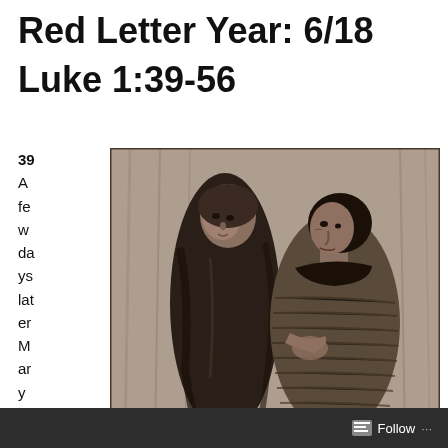Red Letter Year: 6/18
Luke 1:39-56
39 A few days later Mary hu
[Figure (illustration): Black and white drawing/etching of two women standing together, one younger in dark robes and one older in a patterned dress, appearing to be Mary and Elizabeth meeting]
Follow